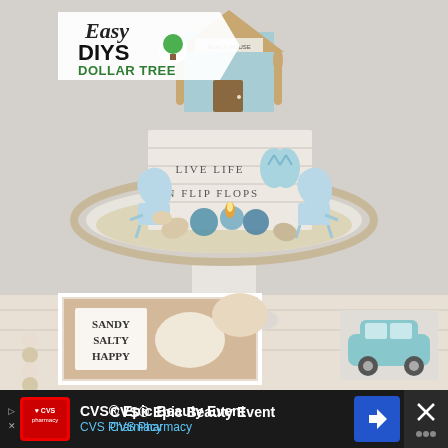[Figure (photo): Beach-themed Dollar Tree DIY tiered tray display featuring a miniature beach house on top, a rope-edged tray with shell-shaped Adirondack chairs, blue glass gems, a flameless candle, seashells, and a 'LIVE LIFE IN FLIP FLOPS' sign. Below are framed art pieces reading 'SANDY SALTY HAPPY' and a teal ceramic vintage car. An overlay logo in the top left reads 'Easy DIYS DOLLAR TREE' with a green tree icon.]
CVS® Epic Beauty Event
CVS Pharmacy